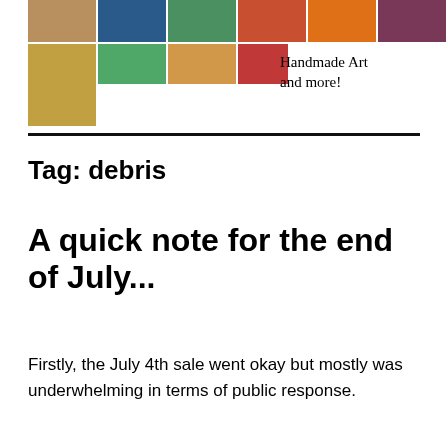[Figure (photo): A mosaic of colorful handmade artwork thumbnails arranged in a grid, with text 'Handmade Art and more!' to the right]
Tag: debris
A quick note for the end of July...
Firstly, the July 4th sale went okay but mostly was underwhelming in terms of public response.